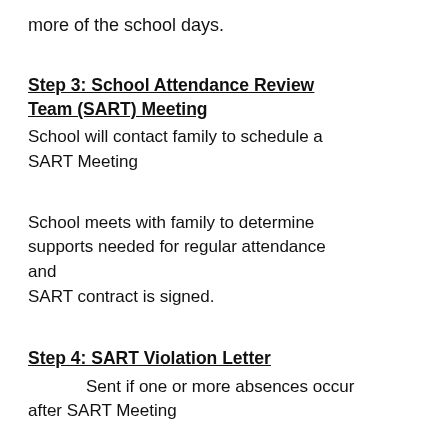more of the school days.
Step 3: School Attendance Review Team (SART) Meeting
School will contact family to schedule a SART Meeting
School meets with family to determine supports needed for regular attendance and
SART contract is signed.
Step 4: SART Violation Letter
Sent if one or more absences occur after SART Meeting
Step 5: Attendance Letter #3